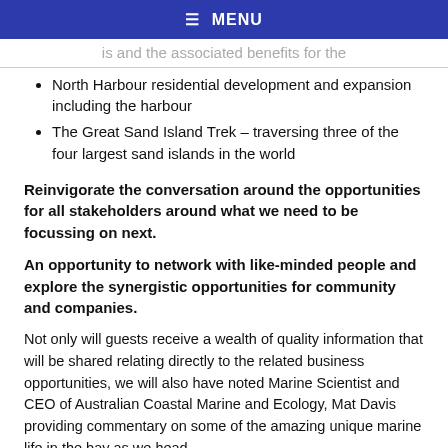≡ MENU
is and the associated benefits for the
North Harbour residential development and expansion including the harbour
The Great Sand Island Trek – traversing three of the four largest sand islands in the world
Reinvigorate the conversation around the opportunities for all stakeholders around what we need to be focussing on next.
An opportunity to network with like-minded people and explore the synergistic opportunities for community and companies.
Not only will guests receive a wealth of quality information that will be shared relating directly to the related business opportunities, we will also have noted Marine Scientist and CEO of Australian Coastal Marine and Ecology, Mat Davis providing commentary on some of the amazing unique marine life in the bay as we head